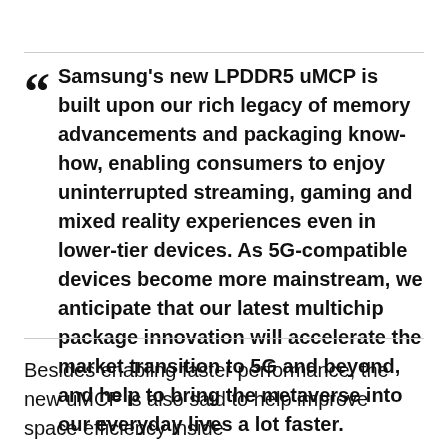Samsung's new LPDDR5 uMCP is built upon our rich legacy of memory advancements and packaging know-how, enabling consumers to enjoy uninterrupted streaming, gaming and mixed reality experiences even in lower-tier devices. As 5G-compatible devices become more mainstream, we anticipate that our latest multichip package innovation will accelerate the market transition to 5G and beyond, and help to bring the metaverse into our everyday lives a lot faster.
Besides enabling faster performance, the new uMCP is also said to help improve space efficiency inside